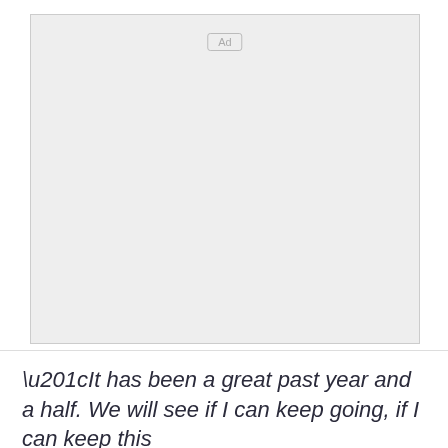[Figure (other): Advertisement placeholder box with 'Ad' label in top center]
“It has been a great past year and a half. We will see if I can keep going, if I can keep this